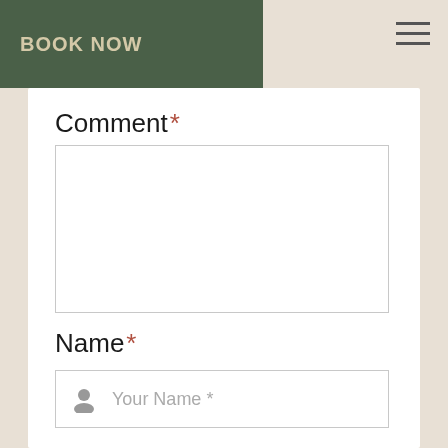BOOK NOW
Comment *
[Figure (screenshot): Empty comment textarea input field with light gray border]
Name *
[Figure (screenshot): Name input field with user icon and placeholder text 'Your Name *']